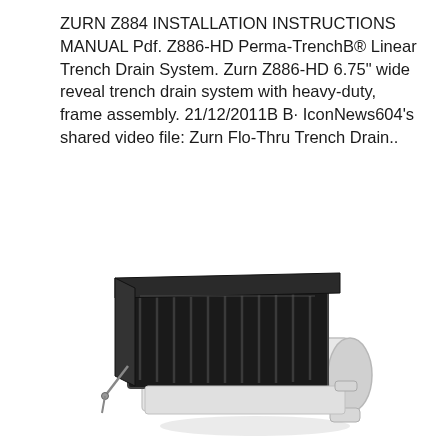ZURN Z884 INSTALLATION INSTRUCTIONS MANUAL Pdf. Z886-HD Perma-TrenchB® Linear Trench Drain System. Zurn Z886-HD 6.75" wide reveal trench drain system with heavy-duty, frame assembly. 21/12/2011B B· IconNews604's shared video file: Zurn Flo-Thru Trench Drain..
[Figure (photo): A Zurn trench drain product component showing a dark metal grated top section with white plastic/PVC body housing, viewed at an angle from above-front. Small metal bolt or pin visible on the left side.]